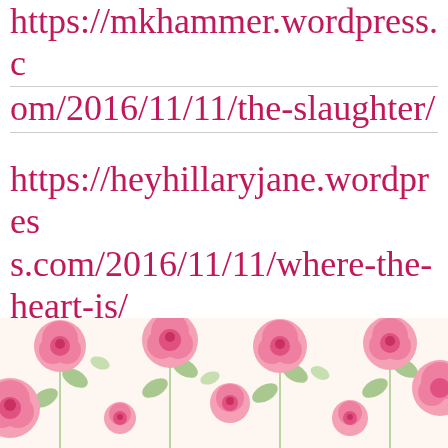https://mkhammer.wordpress.com/2016/11/11/the-slaughter/
https://heyhillaryjane.wordpress.com/2016/11/11/where-the-heart-is/
Where are the Veterans?Who do we remember?
[Figure (illustration): Decorative floral banner with pink roses and green leaves on a cream background]